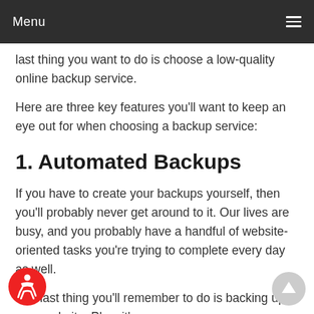Menu
last thing you want to do is choose a low-quality online backup service.
Here are three key features you'll want to keep an eye out for when choosing a backup service:
1. Automated Backups
If you have to create your backups yourself, then you'll probably never get around to it. Our lives are busy, and you probably have a handful of website-oriented tasks you're trying to complete every day as well.
The last thing you'll remember to do is backing up your website. Plus, it's a